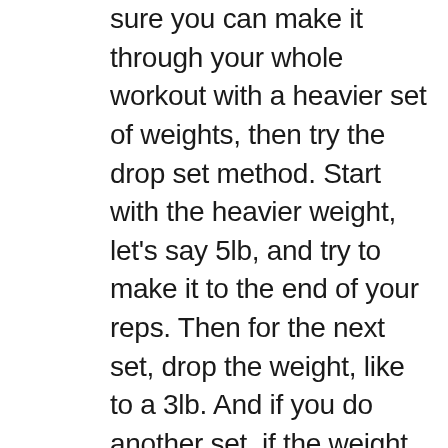sure you can make it through your whole workout with a heavier set of weights, then try the drop set method. Start with the heavier weight, let's say 5lb, and try to make it to the end of your reps. Then for the next set, drop the weight, like to a 3lb. And if you do another set, if the weight is still feeling heavy, drop it down again. The point is to keep pushing yourself harder, while not giving up on the amount of reps and sets you need to finish your exercise. Only drop the weight if you can't do the exercise properly or if it is causing you pain, don't use drop